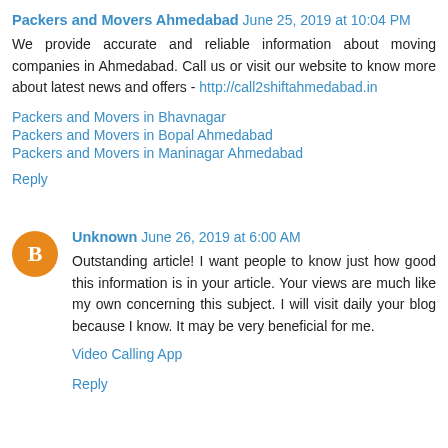Packers and Movers Ahmedabad June 25, 2019 at 10:04 PM
We provide accurate and reliable information about moving companies in Ahmedabad. Call us or visit our website to know more about latest news and offers - http://call2shiftahmedabad.in
Packers and Movers in Bhavnagar
Packers and Movers in Bopal Ahmedabad
Packers and Movers in Maninagar Ahmedabad
Reply
Unknown June 26, 2019 at 6:00 AM
Outstanding article! I want people to know just how good this information is in your article. Your views are much like my own concerning this subject. I will visit daily your blog because I know. It may be very beneficial for me.
Video Calling App
Reply